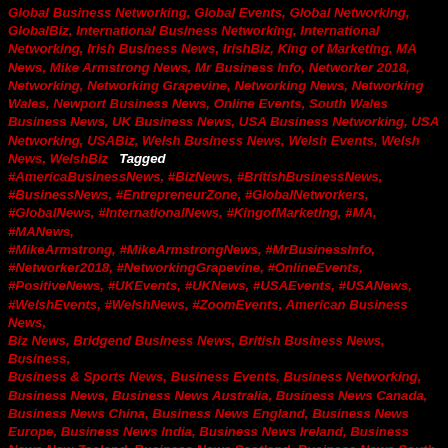Global Business Networking, Global Events, Global Networking, GlobalBiz, International Business Networking, International Networking, Irish Business News, IrishBiz, King of Marketing, MA News, Mike Armstrong News, Mr Business Info, Networker 2018, Networking, Networking Grapevine, Networking News, Networking Wales, Newport Business News, Online Events, South Wales Business News, UK Business News, USA Business Networking, USA Networking, USABiz, Welsh Business News, Welsh Events, Welsh News, WelshBiz   Tagged #AmericaBusinessNews, #BizNews, #BritishBusinessNews, #BusinessNews, #EntrepreneurZone, #GlobalNetworkers, #GlobalNews, #InternationalNews, #KingofMarketing, #MA, #MANews, #MikeArmstrong, #MikeArmstrongNews, #MrBusinessInfo, #Networker2018, #NetworkingGrapevine, #OnlineEvents, #PositiveNews, #UKEvents, #UKNews, #USAEvents, #USANews, #WelshEvents, #WelshNews, #ZoomEvents, American Business News, Biz News, Bridgend Business News, British Business News, Business, Business & Sports News, Business Events, Business Networking, Business News, Business News Australia, Business News Canada, Business News China, Business News England, Business News Europe, Business News India, Business News Ireland, Business News New Zealand, Business News Scotland, Business News South Africa, Business News South America, Business News UK, Business News USA, Caerphilly Business News, Cardiff Business Events, Cardiff business news, Cardiff Events, Cardiff Networking Events, ChinaBiz, England Business News,